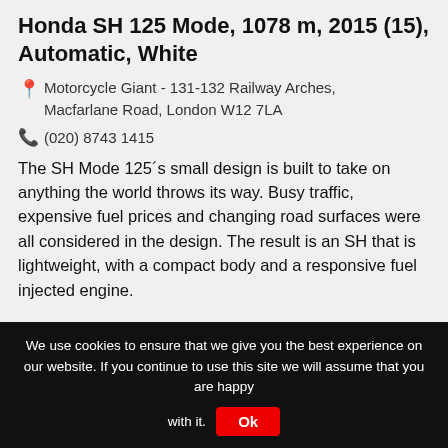Honda SH 125 Mode, 1078 m, 2015 (15), Automatic, White
Motorcycle Giant - 131-132 Railway Arches, Macfarlane Road, London W12 7LA
(020) 8743 1415
The SH Mode 125´s small design is built to take on anything the world throws its way. Busy traffic, expensive fuel prices and changing road surfaces were all considered in the design. The result is an SH that is lightweight, with a compact body and a responsive fuel injected engine.
We use cookies to ensure that we give you the best experience on our website. If you continue to use this site we will assume that you are happy with it.